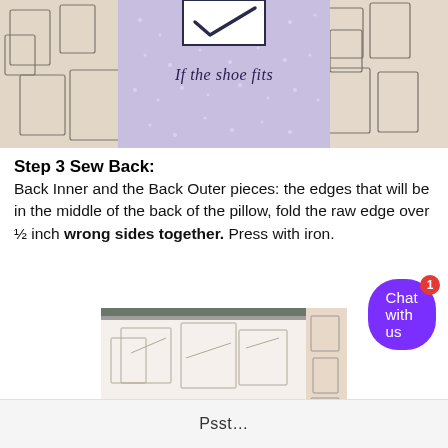[Figure (photo): Top portion of a handmade pillow showing purple lavender fabric with 'If the shoe fits' text and patterned fabric on sides, on a green cutting mat]
Step 3 Sew Back:
Back Inner and the Back Outer pieces: the edges that will be in the middle of the back of the pillow, fold the raw edge over ½ inch wrong sides together. Press with iron.
[Figure (photo): Close-up of white patterned fabric being folded on a green cutting mat]
Psst…